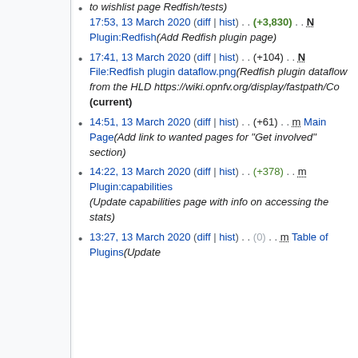17:53, 13 March 2020 (diff | hist) . . (+3,830) . . N Plugin:Redfish (Add Redfish plugin page)
17:41, 13 March 2020 (diff | hist) . . (+104) . . N File:Redfish plugin dataflow.png (Redfish plugin dataflow from the HLD https://wiki.opnfv.org/display/fastpath/Co... (current)
14:51, 13 March 2020 (diff | hist) . . (+61) . . m Main Page (Add link to wanted pages for "Get involved" section)
14:22, 13 March 2020 (diff | hist) . . (+378) . . m Plugin:capabilities (Update capabilities page with info on accessing the stats)
13:27, 13 March 2020 (diff | hist) . . (0) . . m Table of Plugins (Update